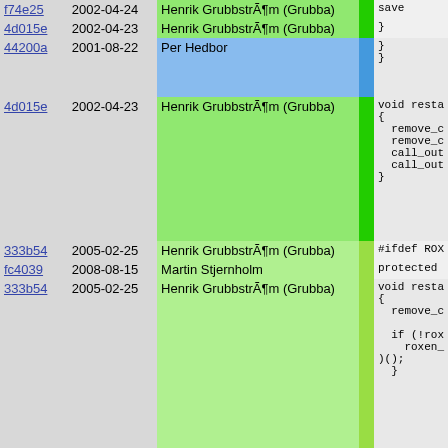| hash | date | author | bar | code |
| --- | --- | --- | --- | --- |
| f74e25 | 2002-04-24 | Henrik GrubbstrÃ¶m (Grubba) |  | save |
| 4d015e | 2002-04-23 | Henrik GrubbstrÃ¶m (Grubba) |  | } |
| 44200a | 2001-08-22 | Per Hedbor |  | }
} |
| 4d015e | 2002-04-23 | Henrik GrubbstrÃ¶m (Grubba) |  | void resta
{
  remove_c
  remove_c
  call_out
  call_out
} |
| 333b54 | 2005-02-25 | Henrik GrubbstrÃ¶m (Grubba) |  | #ifdef ROX |
| fc4039 | 2008-08-15 | Martin Stjernholm |  | protected |
| 333b54 | 2005-02-25 | Henrik GrubbstrÃ¶m (Grubba) |  | void resta
{
  remove_c

  if (!rox
    roxen_
)();
  } |
| 1bb72e | 2006-01-11 | Martin Stjernholm |  | int t = |
| 333b54 | 2005-02-25 | Henrik GrubbstrÃ¶m (Grubba) |  | string h |